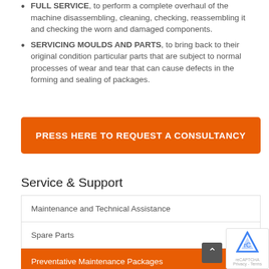FULL SERVICE, to perform a complete overhaul of the machine disassembling, cleaning, checking, reassembling it and checking the worn and damaged components.
SERVICING MOULDS AND PARTS, to bring back to their original condition particular parts that are subject to normal processes of wear and tear that can cause defects in the forming and sealing of packages.
PRESS HERE TO REQUEST A CONSULTANCY
Service & Support
Maintenance and Technical Assistance
Spare Parts
Preventative Maintenance Packages